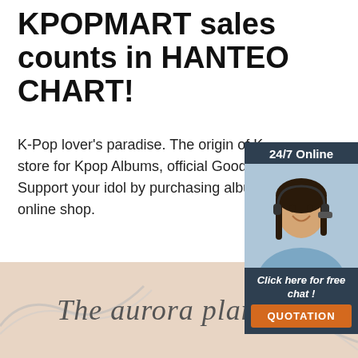KPOPMART sales counts in HANTEO CHART!
K-Pop lover's paradise. The origin of K- store for Kpop Albums, official Goods, K- Support your idol by purchasing albums online shop.
[Figure (photo): Customer service representative with headset, 24/7 Online chat widget with QUOTATION button]
Get Price
[Figure (logo): TOP logo with orange dots arranged in arc above red TOP text]
[Figure (illustration): The aurora planet text in cursive script on beige background with silver chain necklace]